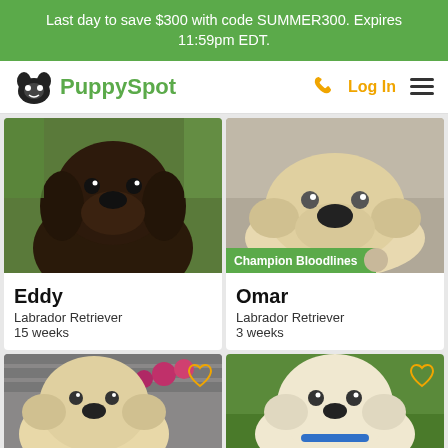Last day to save $300 with code SUMMER300. Expires 11:59pm EDT.
[Figure (logo): PuppySpot logo with dog paw icon and green text]
[Figure (photo): Dark brown Labrador Retriever puppy named Eddy sitting against green background]
Eddy
Labrador Retriever
15 weeks
[Figure (photo): Light yellow Labrador Retriever puppy named Omar lying down, with Champion Bloodlines badge]
Omar
Labrador Retriever
3 weeks
[Figure (photo): Yellow Labrador Retriever puppy with flowers in background]
[Figure (photo): White/cream Labrador Retriever puppy on grass with blue collar]